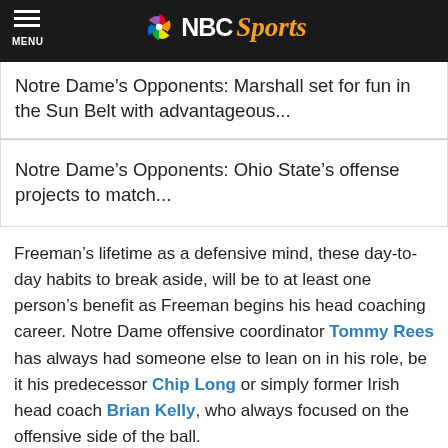MENU | NBC Sports
Notre Dame’s Opponents: Marshall set for fun in the Sun Belt with advantageous...
Notre Dame’s Opponents: Ohio State’s offense projects to match...
Freeman’s lifetime as a defensive mind, these day-to-day habits to break aside, will be to at least one person’s benefit as Freeman begins his head coaching career. Notre Dame offensive coordinator Tommy Rees has always had someone else to lean on in his role, be it his predecessor Chip Long or simply former Irish head coach Brian Kelly, who always focused on the offensive side of the ball.
Now, Rees reports to someone who admittedly knows